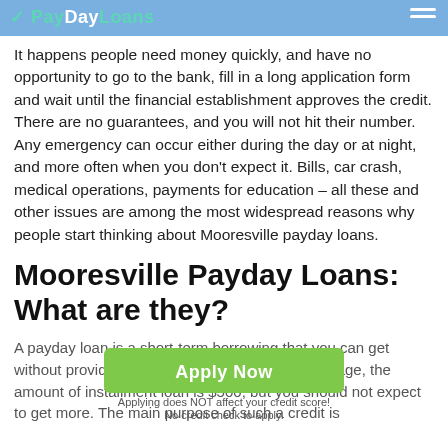PayDayLoans
It happens people need money quickly, and have no opportunity to go to the bank, fill in a long application form and wait until the financial establishment approves the credit. There are no guarantees, and you will not hit their number. Any emergency can occur either during the day or at night, and more often when you don't expect it. Bills, car crash, medical operations, payments for education – all these and other issues are among the most widespread reasons why people start thinking about Mooresville payday loans.
Mooresville Payday Loans: What are they?
A payday loan is a short-term borrowing that you can get without providing numerous documents. On average, the amount of installment loan is $500, but you should not expect to get more. The main purpose of such a credit is